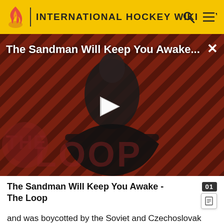INTERNATIONAL HOCKEY WIKI
[Figure (screenshot): Video thumbnail for 'The Sandman Will Keep You Awake... The Loop' showing a dark figure in black cape against a diagonal striped red and dark background with 'THE LOOP' branding overlay and a play button in the center.]
The Sandman Will Keep You Awake - The Loop
and was boycotted by the Soviet and Czechoslovak teams. Sweden defeated Canada for the first time in the history of the competition and won their third gold medal.[26]